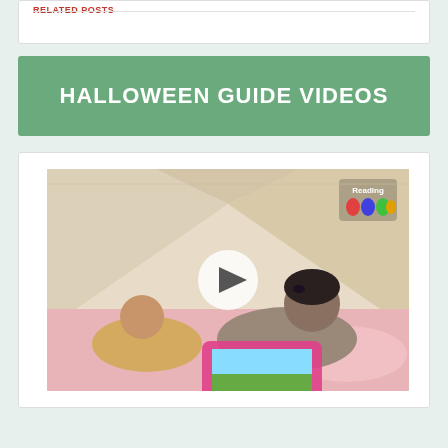HALLOWEEN GUIDE VIDEOS
[Figure (photo): Two children lying on the floor inside a white tent/teepee, looking at a tablet with a pink case. A 'Reading Eggs' logo is visible in the top right corner of the video thumbnail. A play button overlay is centered on the image.]